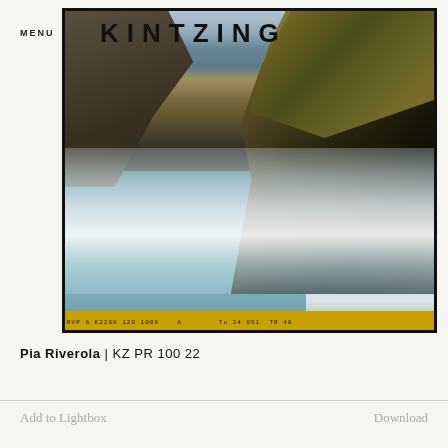MENU
KINTZING
[Figure (photo): Film photograph of rocky coastline with crashing waves. Moss-covered dark rocks dominate the right side and upper portions. Turquoise-white waves crash against the rocks. Film strip with yellow/orange coding visible at the bottom edge.]
Pia Riverola | KZ PR 100 22
Add to Lightbox
Download